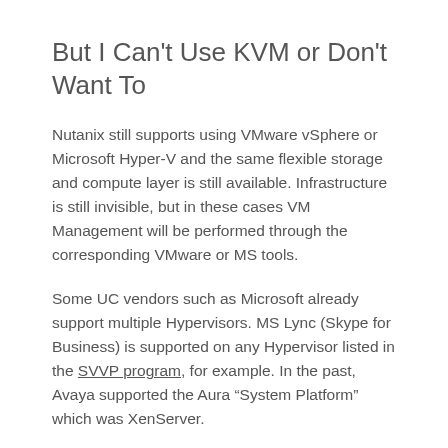But I Can't Use KVM or Don't Want To
Nutanix still supports using VMware vSphere or Microsoft Hyper-V and the same flexible storage and compute layer is still available. Infrastructure is still invisible, but in these cases VM Management will be performed through the corresponding VMware or MS tools.
Some UC vendors such as Microsoft already support multiple Hypervisors. MS Lync (Skype for Business) is supported on any Hypervisor listed in the SVVP program, for example. In the past, Avaya supported the Aura “System Platform” which was XenServer.
I expect the UC marketplace to open up and support alternative hypervisors in the future. Customer demand